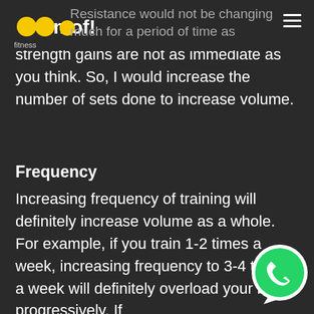oomof! fitness
Resistance would not be changing much for a period of time as strength gains are not as immediate as you think. So, I would increase the number of sets done to increase volume.
Frequency
Increasing frequency of training will definitely increase volume as a whole. For example, if you train 1-2 times a week, increasing frequency to 3-4 times a week will definitely overload your body progressively. If